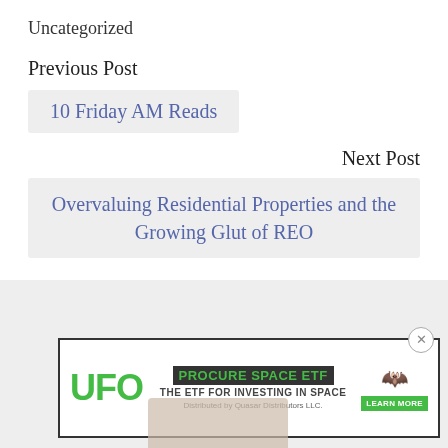Uncategorized
Previous Post
10 Friday AM Reads
Next Post
Overvaluing Residential Properties and the Growing Glut of REO
[Figure (screenshot): Advertisement banner for UFO Procure Space ETF - THE ETF FOR INVESTING IN SPACE, Distributed by Quasar Distributors LLC, with Learn More button]